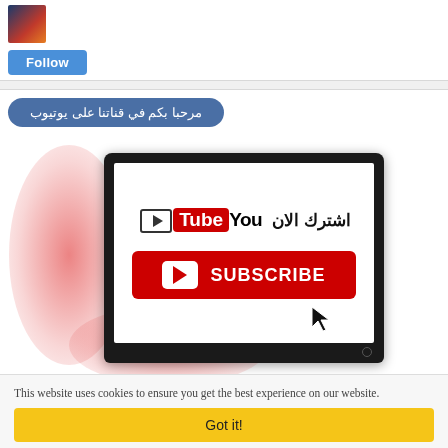[Figure (illustration): Small avatar/thumbnail image showing a dark space/explosion scene]
Follow
مرحبا بكم في قناتنا على يوتيوب
[Figure (illustration): YouTube subscribe promotional graphic showing a monitor/TV with YouTube logo, Arabic text 'اشترك الان' (Subscribe Now), and a red SUBSCRIBE button with play icon, on a red blurred background]
This website uses cookies to ensure you get the best experience on our website.
Got it!